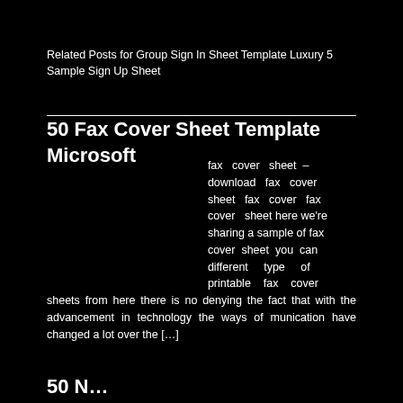Related Posts for Group Sign In Sheet Template Luxury 5 Sample Sign Up Sheet
50 Fax Cover Sheet Template Microsoft
fax cover sheet – download fax cover sheet fax cover fax cover sheet here we're sharing a sample of fax cover sheet you can different type of printable fax cover sheets from here there is no denying the fact that with the advancement in technology the ways of munication have changed a lot over the […]
50 N...